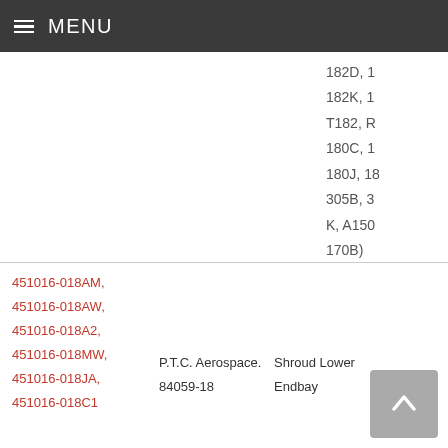MENU
182D, 
182K, 1
T182, R
180C, 1
180J, 18
305B, 3
K, A150
170B)
| Part Number | Manufacturer | Description | Applicant |
| --- | --- | --- | --- |
| 451016-018AM, 451016-018AW, 451016-018A2, 451016-018MW, 451016-018JA, 451016-018C1 | P.T.C. Aerospace. 84059-18 | Shroud Lower Endbay | McDon |